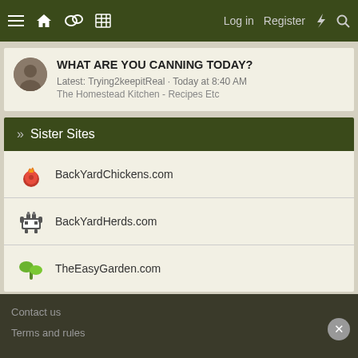Navigation bar with menu, home, chat, grid icons and Log in, Register, bolt, search
WHAT ARE YOU CANNING TODAY?
Latest: Trying2keepitReal · Today at 8:40 AM
The Homestead Kitchen - Recipes Etc
» Sister Sites
BackYardChickens.com
BackYardHerds.com
TheEasyGarden.com
< Where Am I - Where Are You?
Contact us
Terms and rules